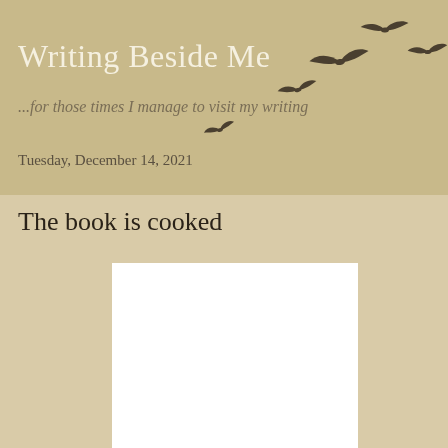Writing Beside Me
...for those times I manage to visit my writing
Tuesday, December 14, 2021
The book is cooked
[Figure (photo): White rectangular image, likely a book cover placeholder]